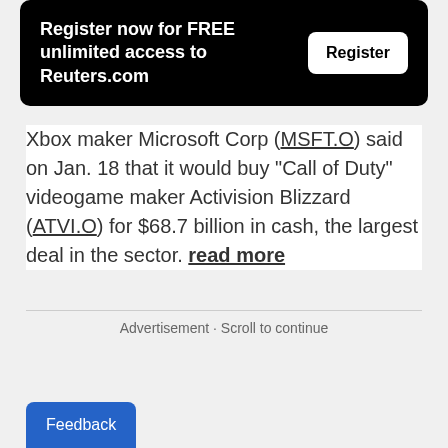[Figure (other): Black registration banner with text 'Register now for FREE unlimited access to Reuters.com' and a white 'Register' button]
Xbox maker Microsoft Corp (MSFT.O) said on Jan. 18 that it would buy "Call of Duty" videogame maker Activision Blizzard (ATVI.O) for $68.7 billion in cash, the largest deal in the sector. read more
Advertisement · Scroll to continue
Feedback